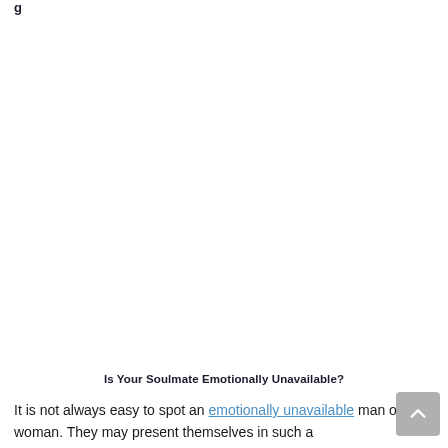g…
Is Your Soulmate Emotionally Unavailable?
It is not always easy to spot an emotionally unavailable man or woman. They may present themselves in such a